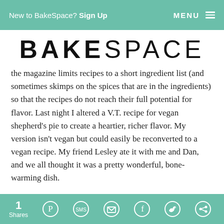New to BakeSpace? Sign Up   MENU
BAKESPACE
the magazine limits recipes to a short ingredient list (and sometimes skimps on the spices that are in the ingredients) so that the recipes do not reach their full potential for flavor. Last night I altered a V.T. recipe for vegan shepherd's pie to create a heartier, richer flavor. My version isn't vegan but could easily be reconverted to a vegan recipe. My friend Lesley ate it with me and Dan, and we all thought it was a pretty wonderful, bone-warming dish.
If you usually cook with meat at home, I encourage you to try the soy crumbles. The consistency isn't
1 Shares  [Pinterest] [SMS] [Email] [Facebook] [Twitter] [Other]